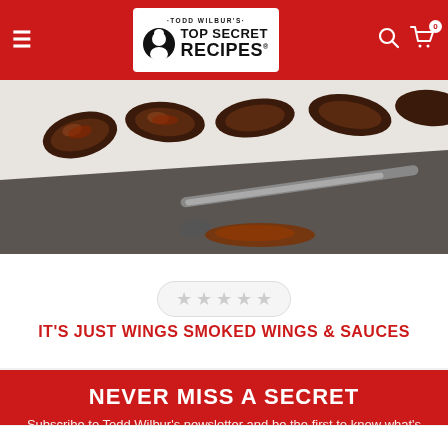[Figure (screenshot): Website header with red navigation bar containing hamburger menu, Todd Wilbur's Top Secret Recipes logo, search icon, and shopping cart with 0 badge]
[Figure (photo): Close-up photo of smoked chicken wings on a white plate with a basting brush and sauce in the foreground]
[Figure (other): Five empty gray star rating widget in a rounded pill-shaped container]
IT'S JUST WINGS SMOKED WINGS & SAUCES
NEVER MISS A SECRET
Subscribe to Todd Wilbur’s newsletter and be the first to know what’s free and what’s new!